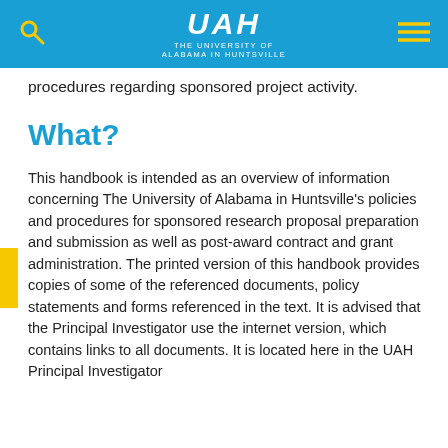THE UNIVERSITY OF ALABAMA IN HUNTSVILLE
procedures regarding sponsored project activity.
What?
This handbook is intended as an overview of information concerning The University of Alabama in Huntsville's policies and procedures for sponsored research proposal preparation and submission as well as post-award contract and grant administration. The printed version of this handbook provides copies of some of the referenced documents, policy statements and forms referenced in the text. It is advised that the Principal Investigator use the internet version, which contains links to all documents. It is located here in the UAH Principal Investigator